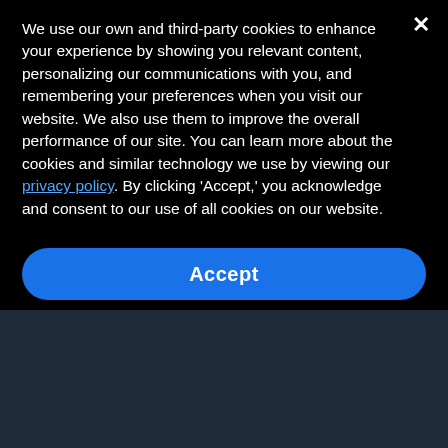We use our own and third-party cookies to enhance your experience by showing you relevant content, personalizing our communications with you, and remembering your preferences when you visit our website. We also use them to improve the overall performance of our site. You can learn more about the cookies and similar technology we use by viewing our privacy policy. By clicking 'Accept,' you acknowledge and consent to our use of all cookies on our website.
Accept
Discovers Real-Time Phishing Threats: While other solutions rely on simple machine learning to predict risks, Cofense leverages human intelligence to detect and respond to actual phishing threats